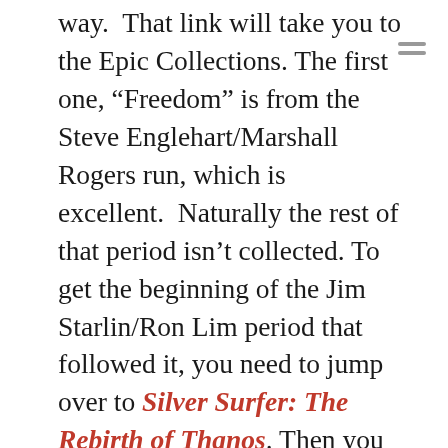way.  That link will take you to the Epic Collections. The first one, “Freedom” is from the Steve Englehart/Marshall Rogers run, which is excellent.  Naturally the rest of that period isn’t collected. To get the beginning of the Jim Starlin/Ron Lim period that followed it, you need to jump over to Silver Surfer: The Rebirth of Thanos. Then you can jump back to the “Thanos Quest” Epic Collection, which takes you up to issue 50 and the end of the Starlin era that really laying the groundwork for Infinity Gauntlet.  Ron Marz jumps in for the next Epic Collection, “Infinity Gauntlet” and that’s more of a companion series to the mini-series/Event of the same name, so venture forward it you want, but know the next volume is largely a tie-in.  Also – the actual Thanos Quest mini-series is reprinted in